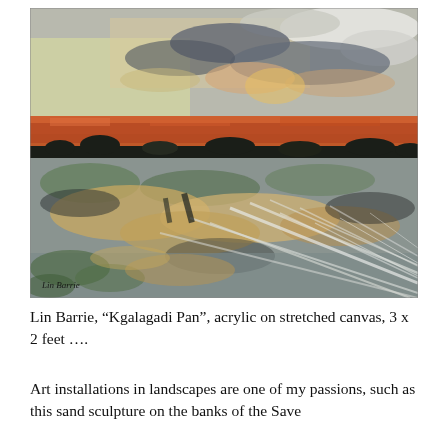[Figure (illustration): A painting by Lin Barrie titled 'Kgalagadi Pan', acrylic on stretched canvas. The painting depicts a dramatic landscape with a wide, flat pan under a turbulent sky. The upper portion shows grey and white clouds with warm peach/orange tones. A bold band of burnt orange and rust colors marks the horizon line with dark silhouetted vegetation. The lower half shows a wet pan surface with reflections of gold, green, grey and white, with diagonal wind-swept textures in the foreground. Artist signature 'Lin Barrie' appears in the lower left corner.]
Lin Barrie, “Kgalagadi Pan”, acrylic on stretched canvas, 3 x 2 feet ….
Art installations in landscapes are one of my passions, such as this sand sculpture on the banks of the Save